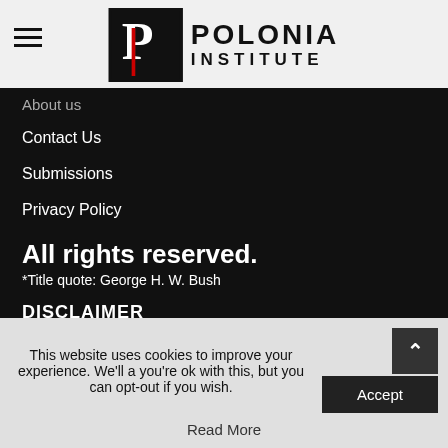[Figure (logo): Polonia Institute logo with stylized P in black box and POLONIA INSTITUTE text]
About us
Contact Us
Submissions
Privacy Policy
All rights reserved.
*Title quote: George H. W. Bush
DISCLAIMER
The views and opinions expressed herein are those of the authors and do not necessarily reflect the views the
This website uses cookies to improve your experience. We'll a you're ok with this, but you can opt-out if you wish.
Read More